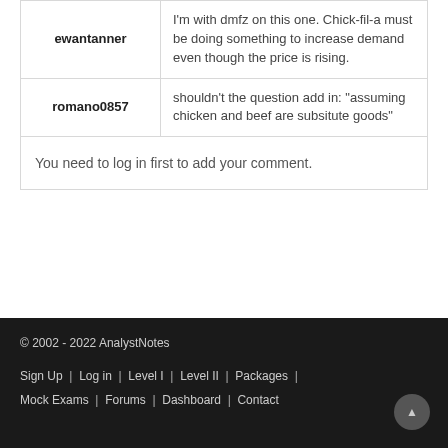| username | comment |
| --- | --- |
| ewantanner | I'm with dmfz on this one. Chick-fil-a must be doing something to increase demand even though the price is rising. |
| romano0857 | shouldn't the question add in: "assuming chicken and beef are subsitute goods" |
You need to log in first to add your comment.
© 2002 - 2022 AnalystNotes | Sign Up | Log in | Level I | Level II | Packages | Mock Exams | Forums | Dashboard | Contact